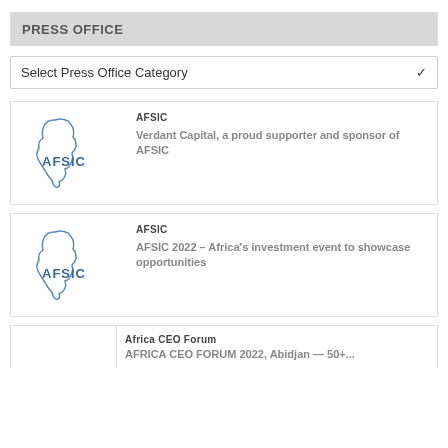PRESS OFFICE
Select Press Office Category
[Figure (logo): AFSIC logo — outline of Africa continent with AFSIC text in blue]
AFSIC
Verdant Capital, a proud supporter and sponsor of AFSIC
[Figure (logo): AFSIC logo — outline of Africa continent with AFSIC text in blue]
AFSIC
AFSIC 2022 – Africa's investment event to showcase opportunities
Africa CEO Forum
AFRICA CEO FORUM 2022, Abidjan — 50+ ... (cut off)